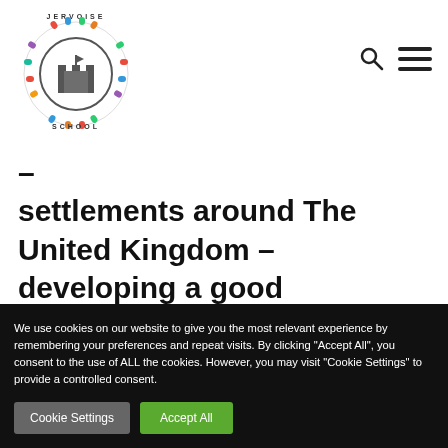[Figure (logo): Jervoise School circular logo with colorful puzzle-piece figures around the border and a castle icon in the center]
settlements around The United Kingdom – developing a good awareness of different settlement
We use cookies on our website to give you the most relevant experience by remembering your preferences and repeat visits. By clicking "Accept All", you consent to the use of ALL the cookies. However, you may visit "Cookie Settings" to provide a controlled consent.
Cookie Settings
Accept All